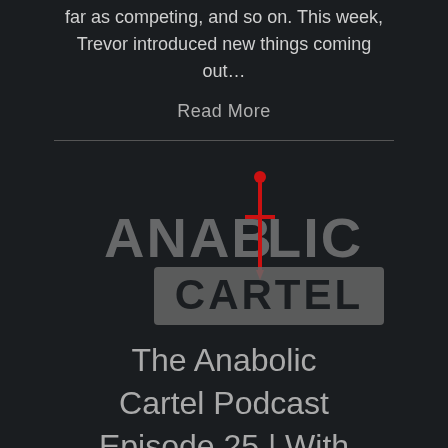far as competing, and so on. This week, Trevor introduced new things coming out…
Read More
[Figure (logo): Anabolic Cartel logo with bold text 'ANABOLIC' in gray background style and 'CARTEL' in a dark box, with a red sword/dagger graphic replacing the 'I' in ANABOLIC]
The Anabolic Cartel Podcast Episode 25 | With